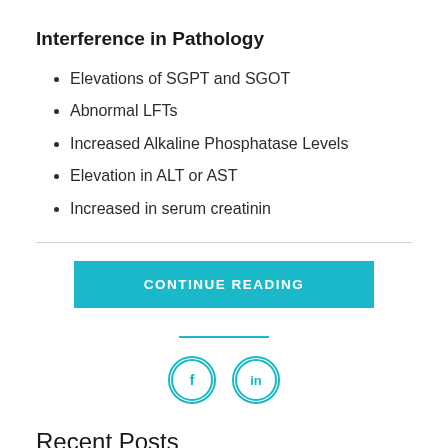Interference in Pathology
Elevations of SGPT and SGOT
Abnormal LFTs
Increased Alkaline Phosphatase Levels
Elevation in ALT or AST
Increased in serum creatinin
CONTINUE READING
[Figure (other): Social media icons: Facebook (f) and LinkedIn (in) in teal circle borders]
Recent Posts